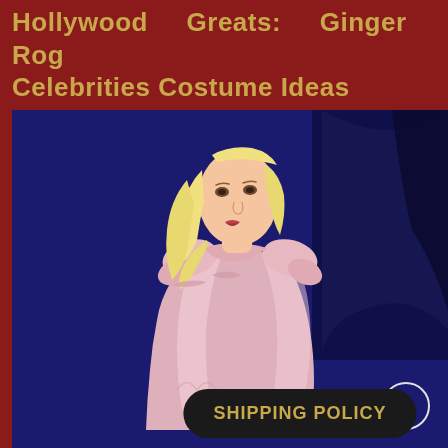Hollywood Greats: Ginger Rog Celebrities Costume Ideas
[Figure (photo): A young blonde girl in a pink satin off-shoulder gown posing in front of a dark blue curtain backdrop, styled to resemble a Hollywood classic actress costume.]
SHIPPING POLICY